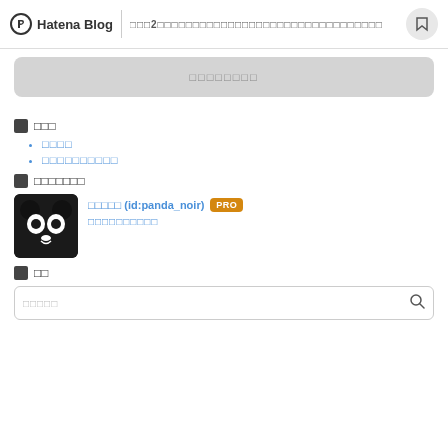Hatena Blog — □□□2□□□□□□□□□□□□□□□□□□□□□□□□□□□□
□□□□□□□□
□□□
□□□□
□□□□□□□□□□
□□□□□□□
□□□□□ (id:panda_noir) PRO — □□□□□□□□□□
□□
□□□□□ (search placeholder)